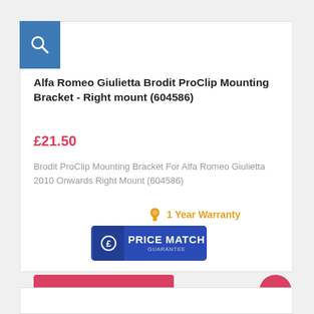[Figure (screenshot): Blue square search icon with magnifying glass]
Alfa Romeo Giulietta Brodit ProClip Mounting Bracket - Right mount (604586)
£21.50
Brodit ProClip Mounting Bracket For Alfa Romeo Giulietta 2010 Onwards Right Mount (604586)
1 Year Warranty
[Figure (logo): Blue Price Match Guarantee button with £ icon]
ADD TO CART